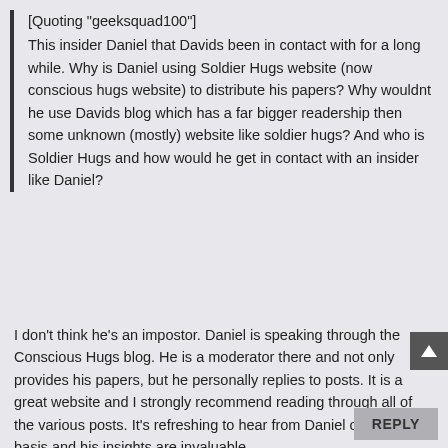[Quoting "geeksquad100"] This insider Daniel that Davids been in contact with for a long while. Why is Daniel using Soldier Hugs website (now conscious hugs website) to distribute his papers? Why wouldnt he use Davids blog which has a far bigger readership then some unknown (mostly) website like soldier hugs? And who is Soldier Hugs and how would he get in contact with an insider like Daniel?
I don't think he's an impostor. Daniel is speaking through the Conscious Hugs blog. He is a moderator there and not only provides his papers, but he personally replies to posts. It is a great website and I strongly recommend reading through all of the various posts. It's refreshing to hear from Daniel on a regular basis and his insights are invaluable.